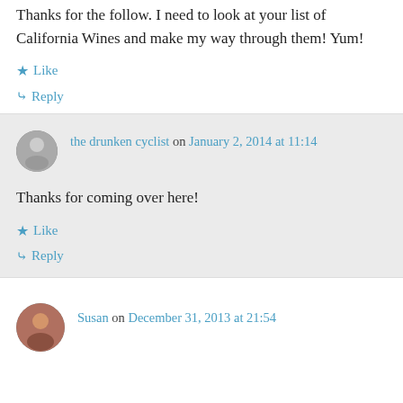Thanks for the follow. I need to look at your list of California Wines and make my way through them! Yum!
★ Like
↳ Reply
the drunken cyclist on January 2, 2014 at 11:14
Thanks for coming over here!
★ Like
↳ Reply
Susan on December 31, 2013 at 21:54